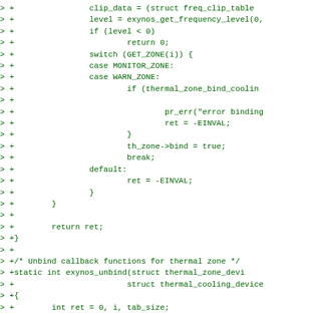[Figure (screenshot): A code diff showing C source code for Linux kernel thermal management (Exynos thermal zone bind/unbind functions). Lines prefixed with '> +' shown in green monospace font on white background.]